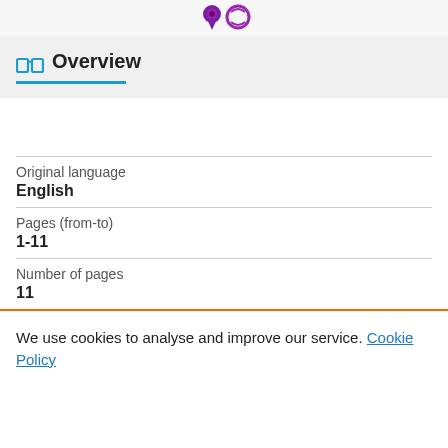[Figure (illustration): Two small icons partially visible at the top: a dark purple teardrop/pin shape and a purple circle outline icon]
Overview
| Original language | English |
| Pages (from-to) | 1-11 |
| Number of pages | 11 |
We use cookies to analyse and improve our service. Cookie Policy